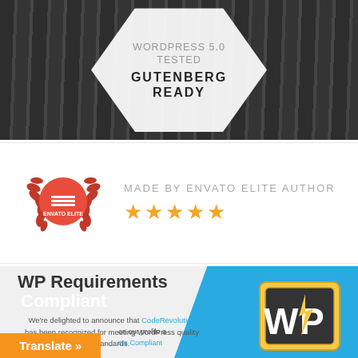[Figure (photo): Letterpress metal type blocks background with hexagon badge overlay showing WordPress 5.0 Tested Gutenberg Ready]
WORDPRESS 5.0 TESTED GUTENBERG READY
[Figure (logo): Envato Elite red badge with laurel wreath]
MADE BY ENVATO ELITE AUTHOR ★★★★★
WP Requirements Compliant
We're delighted to announce that CodeRevolution has been recognized for meeting WordPress quality standards.
Translate »
on our profile a
nts Compliant